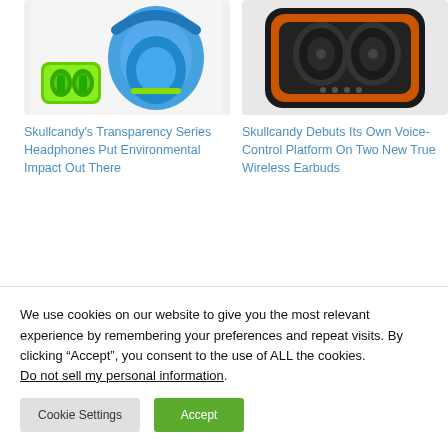[Figure (photo): Skullcandy green true wireless earbuds in case alongside blue over-ear headphones on white background]
[Figure (photo): Skullcandy black and orange true wireless earbuds in open charging case on light gray background]
Skullcandy's Transparency Series Headphones Put Environmental Impact Out There
Skullcandy Debuts Its Own Voice-Control Platform On Two New True Wireless Earbuds
We use cookies on our website to give you the most relevant experience by remembering your preferences and repeat visits. By clicking “Accept”, you consent to the use of ALL the cookies. Do not sell my personal information.